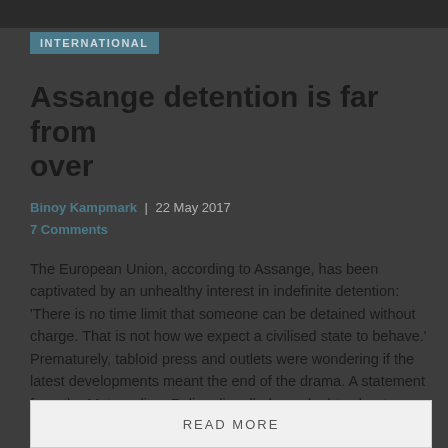[Figure (photo): Dark photo strip at the top of the page]
INTERNATIONAL
Assange detention is far from over
Binoy Kampmark | 22 May 2017
7 Comments
The European Union, according to Assange, has been captivated by an unhealthy interest in indefinite detention: 'There is no time limit that someone can be detained without charge. That is not how we expect a civilised state to behave.' Prematurely, tabloid press and outlets were wondering if the latest developments meant the end of the drama. A statement from the Metropolitan Police dispelled any doubts about Assange's plight, should he wish to leave his narrow digs in Knightsbridge.
READ MORE